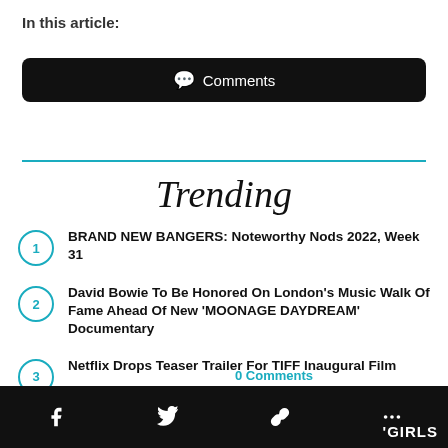In this article:
Comments
[Figure (other): Horizontal teal/cyan divider line]
Trending
1. BRAND NEW BANGERS: Noteworthy Nods 2022, Week 31
2. David Bowie To Be Honored On London's Music Walk Of Fame Ahead Of New 'MOONAGE DAYDREAM' Documentary
3. Netflix Drops Teaser Trailer For TIFF Inaugural Film
0 Comments
'GIRLS